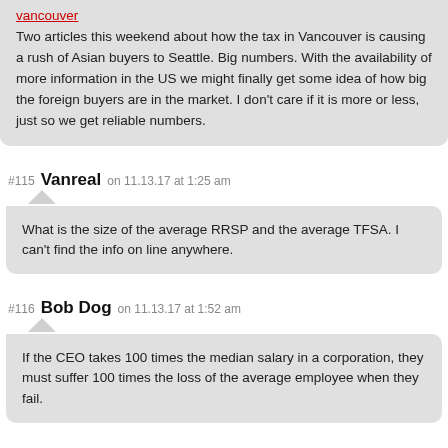Two articles this weekend about how the tax in Vancouver is causing a rush of Asian buyers to Seattle. Big numbers. With the availability of more information in the US we might finally get some idea of how big the foreign buyers are in the market. I don't care if it is more or less, just so we get reliable numbers.
#115 Vanreal on 11.13.17 at 1:25 am
What is the size of the average RRSP and the average TFSA. I can't find the info on line anywhere.
#116 Bob Dog on 11.13.17 at 1:52 am
If the CEO takes 100 times the median salary in a corporation, they must suffer 100 times the loss of the average employee when they fail.
#117 morrey on 11.13.17 at 2:25 am